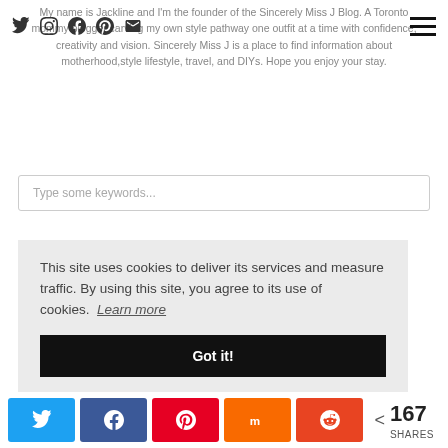Social icons: Twitter, Instagram, Facebook, Pinterest, Email | Hamburger menu
My name is Jackline and I'm the founder of the Sincerely Miss J Blog. A Toronto mommy blogger carving my own style pathway one outfit at a time with confidence, creativity and vision. Sincerely Miss J is a place to find information about motherhood,style lifestyle, travel, and DIYs. Hope you enjoy your stay.
Type some keywords...
This site uses cookies to deliver its services and measure traffic. By using this site, you agree to its use of cookies. Learn more
Got it!
< 167 SHARES | Twitter share | Facebook share | Pinterest share | Mix share | Reddit share